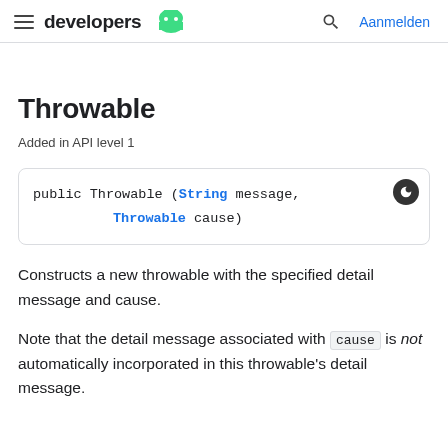developers [android logo] | Aanmelden
Throwable
Added in API level 1
Constructs a new throwable with the specified detail message and cause.
Note that the detail message associated with cause is not automatically incorporated in this throwable's detail message.